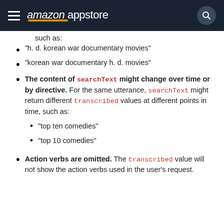amazon appstore
"h. d. korean war documentary movies"
"korean war documentary h. d. movies"
The content of searchText might change over time or by directive. For the same utterance, searchText might return different transcribed values at different points in time, such as: "top ten comedies", "top 10 comedies"
Action verbs are omitted. The transcribed value will not show the action verbs used in the user's request.